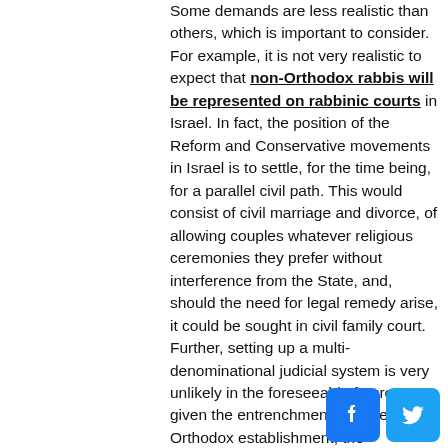Some demands are less realistic than others, which is important to consider. For example, it is not very realistic to expect that non-Orthodox rabbis will be represented on rabbinic courts in Israel. In fact, the position of the Reform and Conservative movements in Israel is to settle, for the time being, for a parallel civil path. This would consist of civil marriage and divorce, of allowing couples whatever religious ceremonies they prefer without interference from the State, and, should the need for legal remedy arise, it could be sought in civil family court. Further, setting up a multi-denominational judicial system is very unlikely in the foreseeable future, given the entrenchment of Israel's Orthodox establishment, the complexity of this issue, and the questionable desirability of adding to the scope of religious courts that function as state courts. In setting our priorities as advocates, we must take such considerations into account.
[Figure (logo): Facebook and Twitter social media icons]